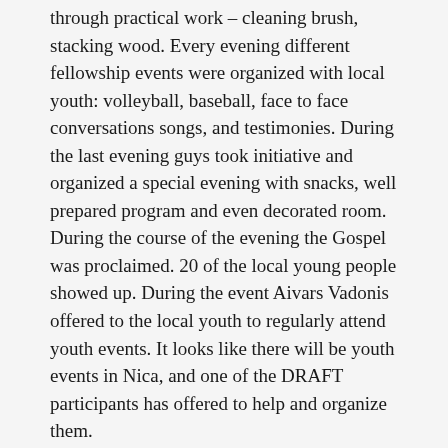through practical work – cleaning brush, stacking wood. Every evening different fellowship events were organized with local youth: volleyball, baseball, face to face conversations songs, and testimonies. During the last evening guys took initiative and organized a special evening with snacks, well prepared program and even decorated room. During the course of the evening the Gospel was proclaimed. 20 of the local young people showed up. During the event Aivars Vadonis offered to the local youth to regularly attend youth events. It looks like there will be youth events in Nica, and one of the DRAFT participants has offered to help and organize them.
It is exciting to see how guys' eyes